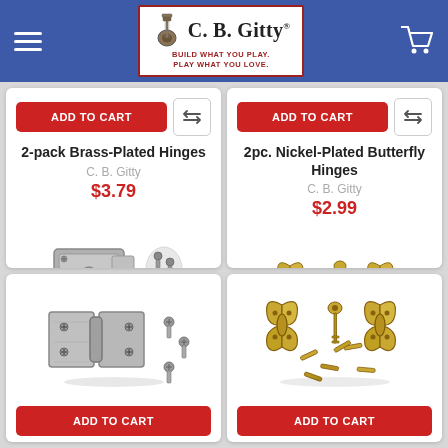C. B. Gitty — BUILD WHAT YOU PLAY. PLAY WHAT YOU LOVE.
ADD TO CART
2-pack Brass-Plated Hinges
C. B. Gitty
$3.79
[Figure (photo): Silver/nickel butterfly hinge with small screws]
ADD TO CART
2pc. Nickel-Plated Butterfly Hinges
C. B. Gitty
$2.99
[Figure (photo): Brass-colored butterfly hinges with screws and mounting hardware]